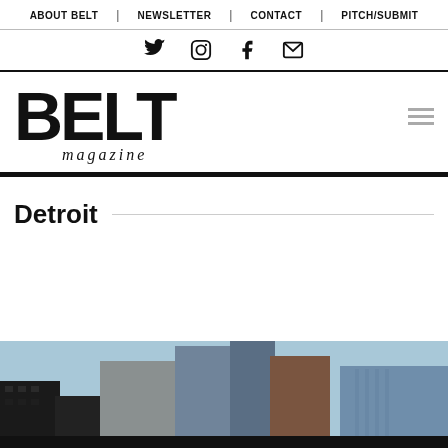ABOUT BELT | NEWSLETTER | CONTACT | PITCH/SUBMIT
[Figure (other): Social media icons: Twitter, Instagram, Facebook, Email]
[Figure (logo): BELT magazine logo — large bold uppercase BELT with italic 'magazine' below]
Detroit
[Figure (photo): Street-level photo of Detroit downtown buildings and skyscrapers under a blue sky]